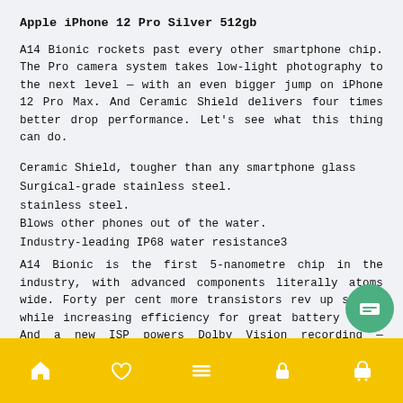Apple iPhone 12 Pro Silver 512gb
A14 Bionic rockets past every other smartphone chip. The Pro camera system takes low-light photography to the next level — with an even bigger jump on iPhone 12 Pro Max. And Ceramic Shield delivers four times better drop performance. Let's see what this thing can do.
Ceramic Shield, tougher than any smartphone glass
Surgical-grade stainless steel.
stainless steel.
Blows other phones out of the water.
Industry-leading IP68 water resistance3
A14 Bionic is the first 5-nanometre chip in the industry, with advanced components literally atoms wide. Forty per cent more transistors rev up speeds while increasing efficiency for great battery life. And a new ISP powers Dolby Vision recording — something no pro r                          1e